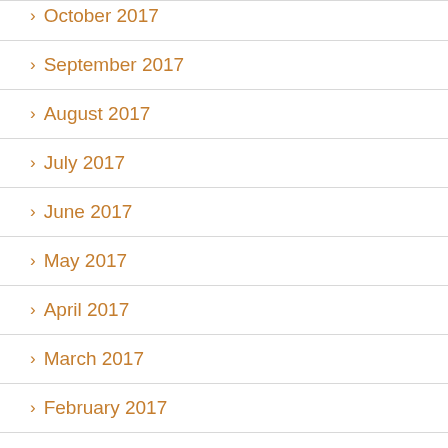> October 2017
> September 2017
> August 2017
> July 2017
> June 2017
> May 2017
> April 2017
> March 2017
> February 2017
> January 2017